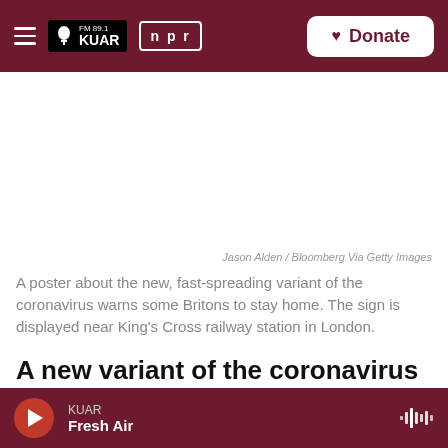FM 89.1 KUAR | NPR | Donate
[Figure (photo): Blank/white image placeholder area for news article photo]
Jason Alden / Bloomberg Via Getty Images
A poster about the new, fast-spreading variant of the coronavirus warns some Britons to stay home. The sign is displayed near King's Cross railway station in London.
A new variant of the coronavirus is spreading rapidly in England and raising international alarms.
KUAR Fresh Air